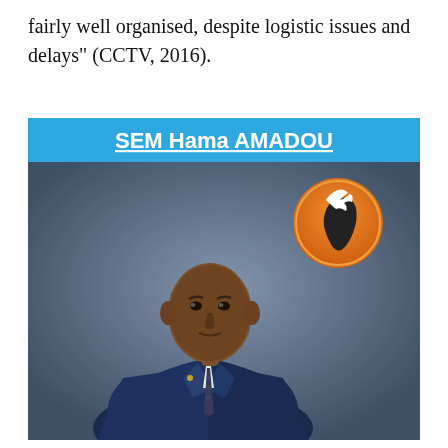fairly well organised, despite logistic issues and delays" (CCTV, 2016).
[Figure (photo): A campaign/political poster featuring SEM Hama AMADOU. The poster has a blue header bar with the name 'SEM Hama AMADOU' in bold white text with underline. The main image shows a man wearing a dark navy blue suit with a white shirt and dark patterned tie, posing against a grey/blue textured background. In the upper right of the poster is an orange circular logo depicting Africa with a dove/bird.]